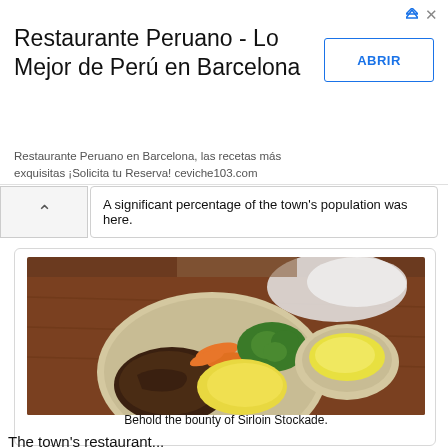[Figure (other): Advertisement banner for Restaurante Peruano - Lo Mejor de Perú en Barcelona with ABRIR button]
A significant percentage of the town's population was here.
[Figure (photo): Photo of a plate of food at Sirloin Stockade showing pulled meat, broccoli, carrots, scrambled eggs/mashed potatoes, and a side dish of potato salad on a wooden table]
Behold the bounty of Sirloin Stockade.
The town's restaurant...